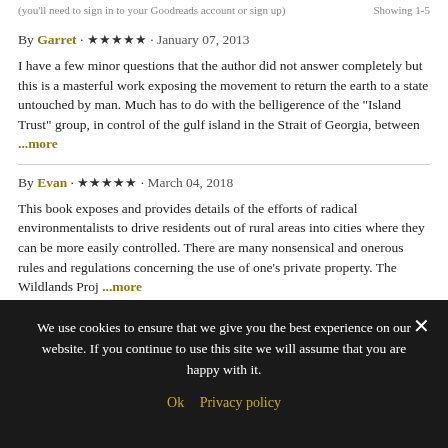(you'll need to sign in to your Goodreads account or sign up) · Showing 1-5
By Garret · ★★★★★ · January 07, 2013
I have a few minor questions that the author did not answer completely but this is a masterful work exposing the movement to return the earth to a state untouched by man. Much has to do with the belligerence of the "Island Trust" group, in control of the gulf island in the Strait of Georgia, between ...more
By Evan · ★★★★★ · March 04, 2018
This book exposes and provides details of the efforts of radical environmentalists to drive residents out of rural areas into cities where they can be more easily controlled. There are many nonsensical and onerous rules and regulations concerning the use of one's private property. The Wildlands Proj ...more
By Rose · ★★★★★ · February 11, 2020
We use cookies to ensure that we give you the best experience on our website. If you continue to use this site we will assume that you are happy with it.
Ok   Privacy policy